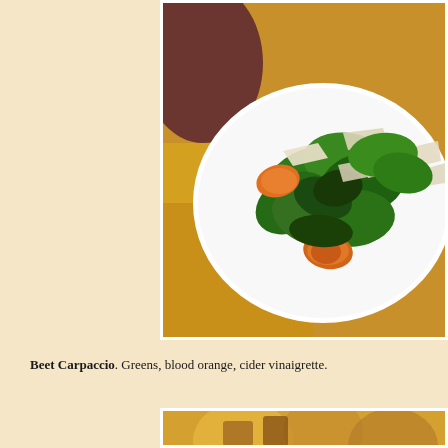[Figure (photo): Close-up photograph of a salad on a white plate. The salad contains dark green leafy greens (spinach), orange blood orange segments, and large shavings of Parmesan cheese. The plate sits on a yellow/golden surface. Background is slightly blurred showing a dark reddish-brown background.]
Beet Carpaccio. Greens, blood orange, cider vinaigrette.
[Figure (photo): Partial view of another dish at the bottom of the page, showing what appears to be food items on a plate with warm golden tones.]